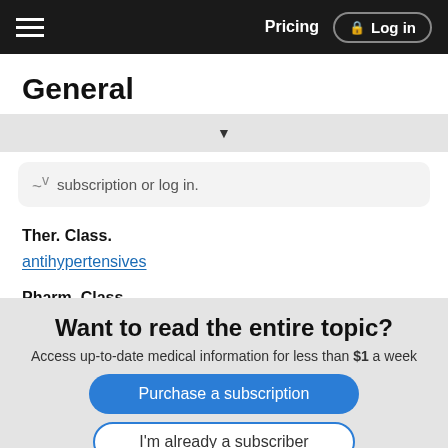General | Pricing | Log in
General
subscription or log in.
Ther. Class.
antihypertensives
Pharm. Class.
peripherally acting antiadrenergics
Want to read the entire topic?
Access up-to-date medical information for less than $1 a week
Purchase a subscription
I'm already a subscriber
Browse sample topics